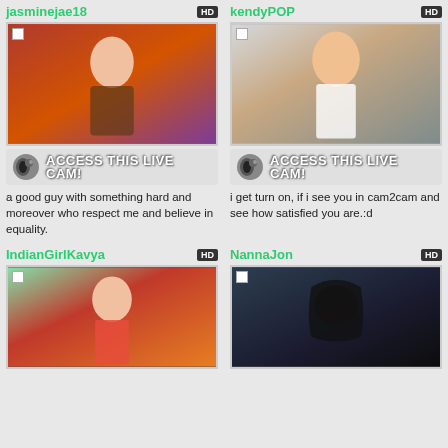jasminejae18
[Figure (photo): Young woman in leopard print top sitting against decorative wall]
ACCESS THIS LIVE CAM!
a good guy with something hard and moreover who respect me and believe in equality.
kendyPOP
[Figure (photo): Young woman in white top with brown wavy hair]
ACCESS THIS LIVE CAM!
i get turn on, if i see you in cam2cam and see how satisfied you are.:d
IndianGirlKavya
[Figure (photo): Indian woman in green and red saree with jewelry]
NannaJon
[Figure (photo): Person with long dark hair against dark background]